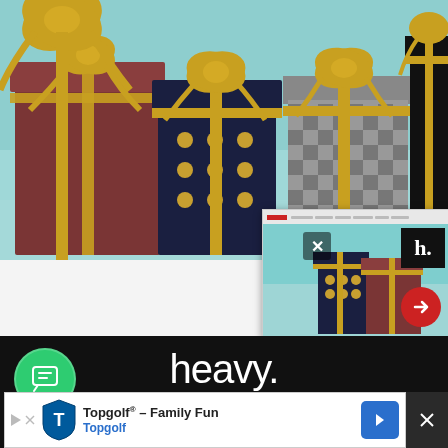[Figure (photo): Gift boxes with gold ribbon bows on a teal/cyan background. Several decorated boxes including dark navy polka-dot, brown/red, checkered, and black boxes with gold ribbon bows.]
[Figure (screenshot): Mini popup overlay showing a thumbnail of the same gift box photo with an X close button, heavy. logo in top right, and a red arrow button.]
[Figure (logo): heavy. website logo in white text on black background with a green chat icon to the left.]
ABOUT HEAVY.COM
[Figure (other): Topgolf advertisement banner: Topgolf® - Family Fun, Topgolf, with shield logo and blue navigation arrow icon.]